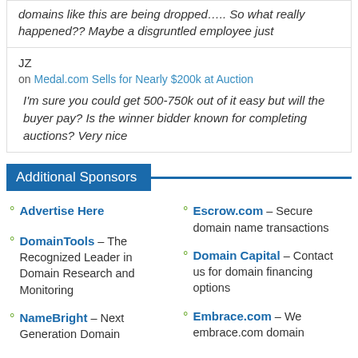domains like this are being dropped….. So what really happened?? Maybe a disgruntled employee just
JZ
on Medal.com Sells for Nearly $200k at Auction
I'm sure you could get 500-750k out of it easy but will the buyer pay? Is the winner bidder known for completing auctions? Very nice
Additional Sponsors
Advertise Here
DomainTools – The Recognized Leader in Domain Research and Monitoring
NameBright – Next Generation Domain
Escrow.com – Secure domain name transactions
Domain Capital – Contact us for domain financing options
Embrace.com – We embrace.com domain